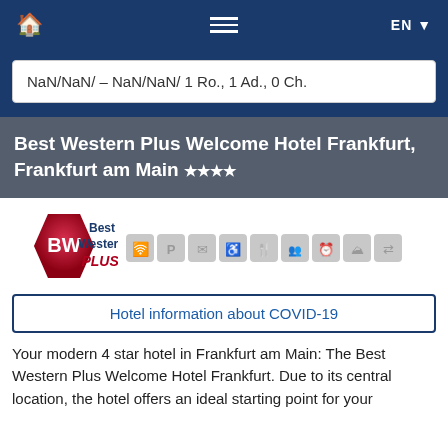🏠 ≡ EN ▼
NaN/NaN/ – NaN/NaN/ 1 Ro., 1 Ad., 0 Ch.
Best Western Plus Welcome Hotel Frankfurt, Frankfurt am Main ★★★★
[Figure (logo): Best Western Plus logo with red diamond shape and BW initials]
[Figure (infographic): Row of grey amenity icons: WiFi, Parking, Envelope, Accessibility, Restaurant, Meetings, Clock, Accessibility2, Arrows]
Hotel information about COVID-19
Your modern 4 star hotel in Frankfurt am Main: The Best Western Plus Welcome Hotel Frankfurt. Due to its central location, the hotel offers an ideal starting point for your business and leisure trips. The Frankfurt am Main hotel is